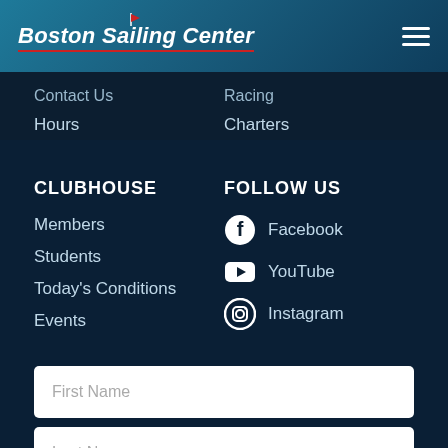Boston Sailing Center
Contact Us
Hours
Racing
Charters
CLUBHOUSE
FOLLOW US
Members
Students
Today's Conditions
Events
Facebook
YouTube
Instagram
First Name
Last Name